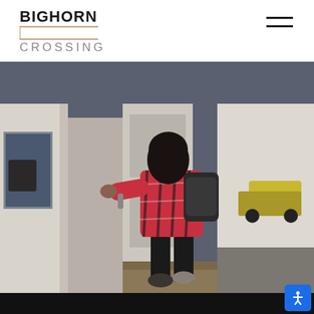BIGHORN CROSSING
[Figure (photo): A person wearing a pink and black plaid flannel shirt and black leggings, carrying a black backpack, opening the door of a weathered white building in a snowy outdoor setting. The scene appears to be a rural or small-town location with snow on the ground and a truck visible in the background.]